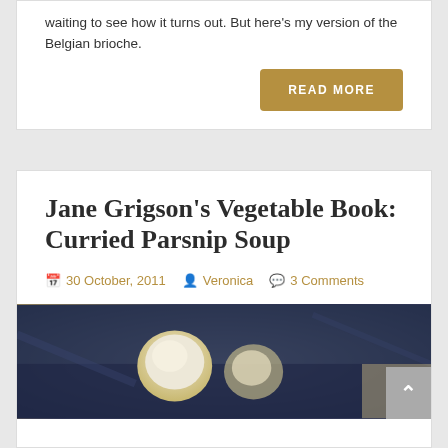waiting to see how it turns out. But here's my version of the Belgian brioche.
READ MORE
Jane Grigson's Vegetable Book: Curried Parsnip Soup
30 October, 2011  Veronica  3 Comments
[Figure (photo): Photo of parsnips on a dark blue cloth background]